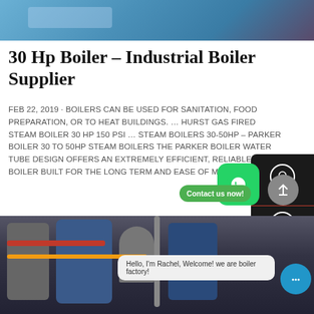[Figure (photo): Top banner photo of industrial equipment/boiler components with blue tones]
30 Hp Boiler – Industrial Boiler Supplier
FEB 22, 2019 · BOILERS CAN BE USED FOR SANITATION, FOOD PREPARATION, OR TO HEAT BUILDINGS. … HURST GAS FIRED STEAM BOILER 30 HP 150 PSI … STEAM BOILERS 30-50HP – PARKER BOILER 30 TO 50HP STEAM BOILERS THE PARKER BOILER WATER TUBE DESIGN OFFERS AN EXTREMELY EFFICIENT, RELIABLE STEAM BOILER BUILT FOR THE LONG TERM AND EASE OF MAINTENANCE.
[Figure (photo): Bottom photo showing industrial boiler room with blue tanks, red and yellow pipes]